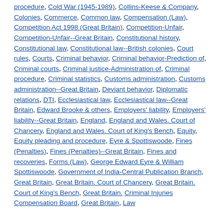procedure, Cold War (1945-1989), Collins-Keese & Company, Colonies, Commerce, Common law, Compensation (Law), Competition Act 1998 (Great Britain), Competition-Unfair, Competition-Unfair--Great Britain, Constitutional history, Constitutional law, Constitutional law--British colonies, Court rules, Courts, Criminal behavior, Criminal behavior-Prediction of, Criminal courts, Criminal justice-Administration of, Criminal procedure, Criminal statistics, Customs administration, Customs administration--Great Britain, Deviant behavior, Diplomatic relations, DTI, Ecclesiastical law, Ecclesiastical law--Great Britain, Edward Brooke & others, Employers' liability, Employers' liability--Great Britain, England, England and Wales. Court of Chancery, England and Wales. Court of King's Bench, Equity, Equity pleading and procedure, Eyre & Spottiswoode, Fines (Penalties), Fines (Penalties)--Great Britain, Fines and recoveries, Forms (Law), George Edward Eyre & William Spottiswoode, Government of India-Central Publication Branch, Great Britain, Great Britain. Court of Chancery, Great Britain. Court of King's Bench, Great Britain. Criminal Injuries Compensation Board, Great Britain, Law